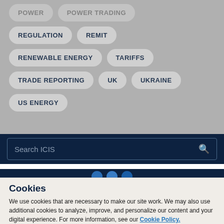REGULATION
REMIT
RENEWABLE ENERGY
TARIFFS
TRADE REPORTING
UK
UKRAINE
US ENERGY
Search ICIS
Cookies
We use cookies that are necessary to make our site work. We may also use additional cookies to analyze, improve, and personalize our content and your digital experience. For more information, see our Cookie Policy.